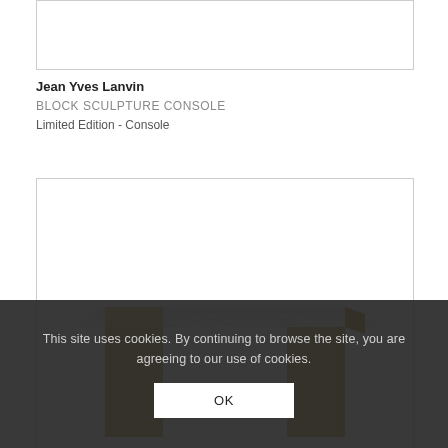[Figure (photo): Top partial image box, white background, partially cropped product photo]
Jean Yves Lanvin
BLOCK SCULPTURE CONSOLE
Limited Edition - Console
[Figure (photo): Luxury console table with white marble top and textured gold/brass geometric block legs, photographed on white background]
This site uses cookies. By continuing to browse the site, you are agreeing to our use of cookies.
OK